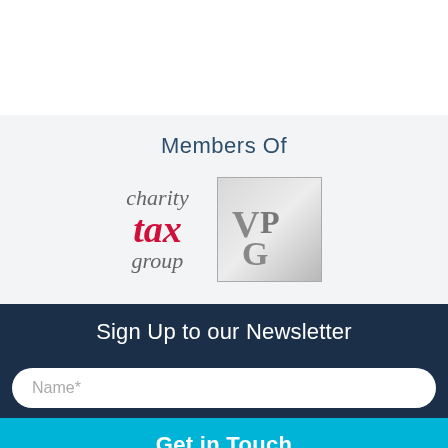Members Of
[Figure (logo): Charity Tax Group logo — italic serif text with 'charity' in grey, 'tax' in bold red, 'group' in grey]
[Figure (logo): VPG logo — silver/grey monogram letters V, P, G inside a square border]
Sign Up to our Newsletter
Name*
Get in Touch